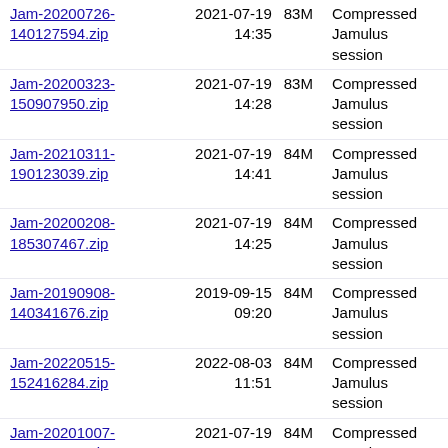| Name | Date | Size | Description |
| --- | --- | --- | --- |
| Jam-20200726-140127594.zip | 2021-07-19 14:35 | 83M | Compressed Jamulus session |
| Jam-20200323-150907950.zip | 2021-07-19 14:28 | 83M | Compressed Jamulus session |
| Jam-20210311-190123039.zip | 2021-07-19 14:41 | 84M | Compressed Jamulus session |
| Jam-20200208-185307467.zip | 2021-07-19 14:25 | 84M | Compressed Jamulus session |
| Jam-20190908-140341676.zip | 2019-09-15 09:20 | 84M | Compressed Jamulus session |
| Jam-20220515-152416284.zip | 2022-08-03 11:51 | 84M | Compressed Jamulus session |
| Jam-20201007-192015279.zip | 2021-07-19 14:43 | 84M | Compressed Jamulus session |
| Jam-20211204-201750280.zip | 2021-12-04 14:02 | 86M | Compressed Jamulus session |
| Jam-20191124-155421121.zip | 2021-07-19 14:23 | 86M | Compressed Jamulus session |
| Jam-20190927-190310773.zip | 2019-09-28 04:29 | 87M | Compressed Jamulus session |
| Jam-20211212-145527089.zip | 2021-12-12 08:57 | 87M | Compressed Jamulus session |
| Jam-20210457-... | 2021-07-19 ... |  | Compressed ... |